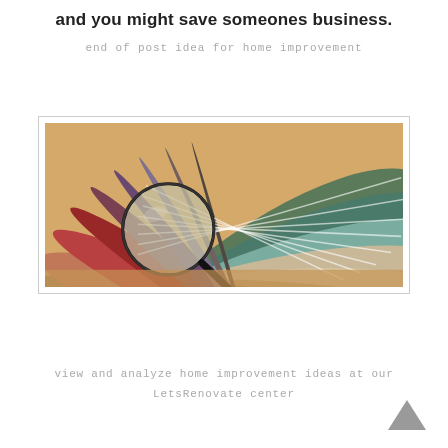and you might save someones business.
end of post idea for home improvement
[Figure (photo): Fan of carpet sample swatches in various colors (green, beige, tan, red, purple, brown) fanned out on a wooden surface, with a magnifying glass lying on top of the lighter colored samples.]
view and analyze home improvement ideas at our
LetsRenovate center